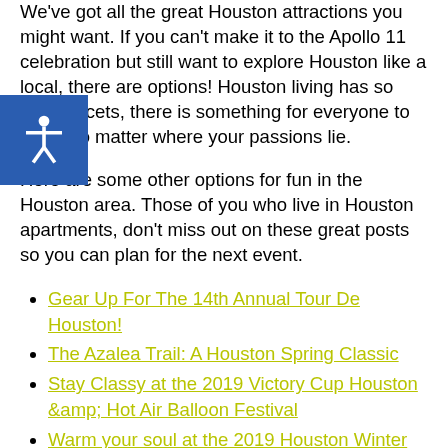We've got all the great Houston attractions you might want. If you can't make it to the Apollo 11 celebration but still want to explore Houston like a local, there are options! Houston living has so many facets, there is something for everyone to enjoy no matter where your passions lie.
Here are some other options for fun in the Houston area. Those of you who live in Houston apartments, don't miss out on these great posts so you can plan for the next event.
Gear Up For The 14th Annual Tour De Houston!
The Azalea Trail: A Houston Spring Classic
Stay Classy at the 2019 Victory Cup Houston &amp; Hot Air Balloon Festival
Warm your soul at the 2019 Houston Winter Whiskey Tasting Festival
Are You Ready For The 2019 Chevron Houston Marathon